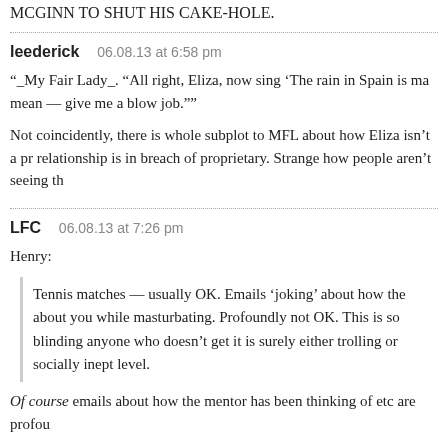MCGINN TO SHUT HIS CAKE-HOLE.
leederick   06.08.13 at 6:58 pm
“_My Fair Lady_. “All right, Eliza, now sing ‘The rain in Spain is ma mean — give me a blow job.””
Not coincidently, there is whole subplot to MFL about how Eliza isn’t a pr relationship is in breach of proprietary. Strange how people aren’t seeing th
LFC   06.08.13 at 7:26 pm
Henry:
Tennis matches — usually OK. Emails ‘joking’ about how the about you while masturbating. Profoundly not OK. This is so blinding anyone who doesn’t get it is surely either trolling or socially inept level.
Of course emails about how the mentor has been thinking of etc are profou